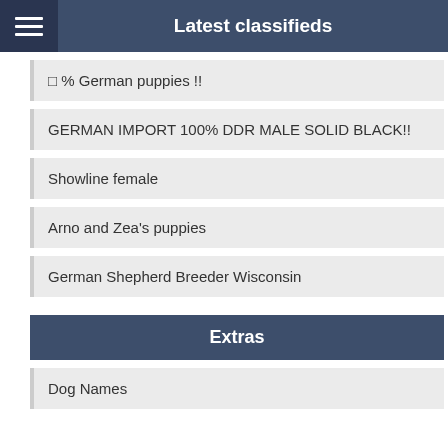Latest classifieds
⓵ % German puppies !!
GERMAN IMPORT 100% DDR MALE SOLID BLACK!!
Showline female
Arno and Zea's puppies
German Shepherd Breeder Wisconsin
Extras
Dog Names